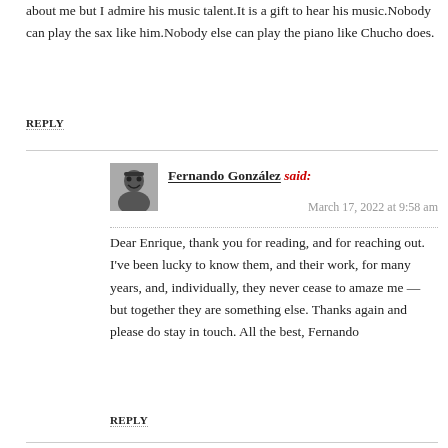about me but I admire his music talent.It is a gift to hear his music.Nobody can play the sax like him.Nobody else can play the piano like Chucho does.
REPLY
[Figure (photo): Black and white avatar photo of Fernando González]
Fernando González said:
March 17, 2022 at 9:58 am
Dear Enrique, thank you for reading, and for reaching out. I've been lucky to know them, and their work, for many years, and, individually, they never cease to amaze me — but together they are something else. Thanks again and please do stay in touch. All the best, Fernando
REPLY